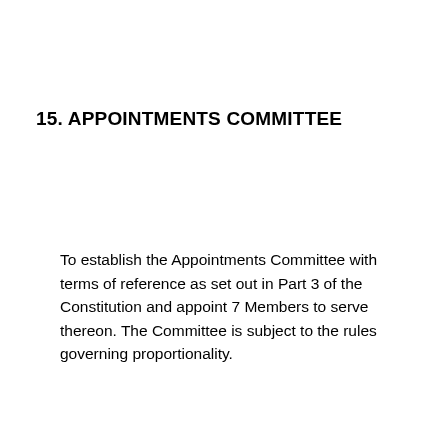15. APPOINTMENTS COMMITTEE
To establish the Appointments Committee with terms of reference as set out in Part 3 of the Constitution and appoint 7 Members to serve thereon.  The Committee is subject to the rules governing proportionality.